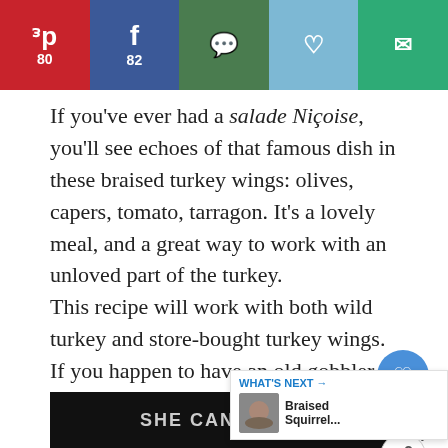[Figure (screenshot): Social media share bar with Pinterest (80), Facebook (82), WhatsApp, Heart/Save, and Email buttons]
If you've ever had a salade Niçoise, you'll see echoes of that famous dish in these braised turkey wings: olives, capers, tomato, tarragon. It's a lovely meal, and a great way to work with an unloved part of the turkey.
This recipe will work with both wild turkey and store-bought turkey wings. If you happen to have an old gobbler, it might take an extra hour for the wings to get tender. Be patient: it happens: The wings will get tender, eventually.
[Figure (screenshot): Advertisement banner at the bottom reading SHE CAN STEM with a close (X) button and a logo]
[Figure (screenshot): Floating sidebar with heart/save (166) and share buttons, plus a WHAT'S NEXT teaser for Braised Squirrel...]